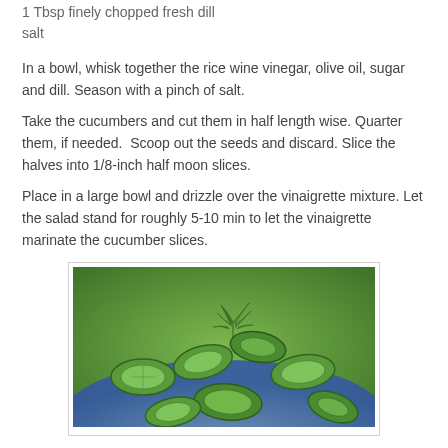1 Tbsp finely chopped fresh dill
salt
In a bowl, whisk together the rice wine vinegar, olive oil, sugar and dill. Season with a pinch of salt.
Take the cucumbers and cut them in half length wise. Quarter them, if needed.  Scoop out the seeds and discard. Slice the halves into 1/8-inch half moon slices.
Place in a large bowl and drizzle over the vinaigrette mixture. Let the salad stand for roughly 5-10 min to let the vinaigrette marinate the cucumber slices.
[Figure (photo): A photo of cucumber salad with half-moon cucumber slices garnished with fresh dill on a blue patterned plate]